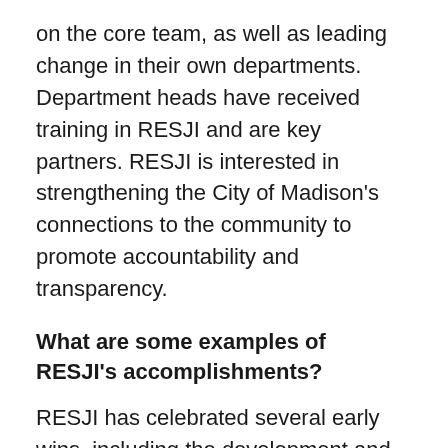on the core team, as well as leading change in their own departments. Department heads have received training in RESJI and are key partners. RESJI is interested in strengthening the City of Madison's connections to the community to promote accountability and transparency.
What are some examples of RESJI's accomplishments?
RESJI has celebrated several early wins, including the development and piloting of the RESJI equity impact analysis tool, departments adopting equity in their mission statements with a strong focus on equity in their work planning, serving as a partner to the Dane County RESJ team, and training many employees and elected officials in Dane County. Racial disparities have been formed over the course of centuries in the United